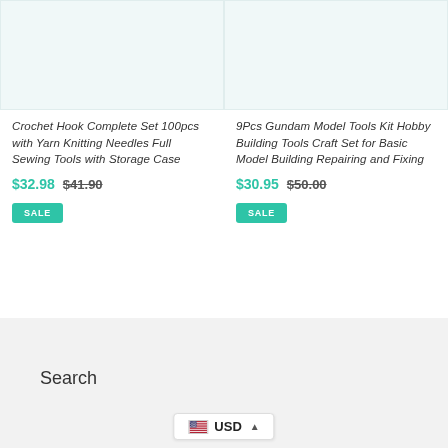[Figure (photo): Product image placeholder — light teal/blue background for Crochet Hook Complete Set]
Crochet Hook Complete Set 100pcs with Yarn Knitting Needles Full Sewing Tools with Storage Case
$32.98  $41.90
SALE
[Figure (photo): Product image placeholder — light teal/blue background for 9Pcs Gundam Model Tools Kit]
9Pcs Gundam Model Tools Kit Hobby Building Tools Craft Set for Basic Model Building Repairing and Fixing
$30.95  $50.00
SALE
Search
USD